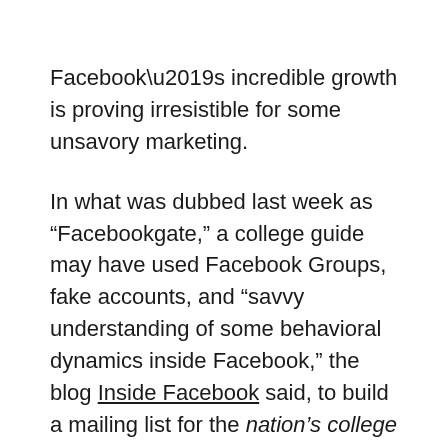Facebook's incredible growth is proving irresistible for some unsavory marketing.
In what was dubbed last week as “Facebookgate,” a college guide may have used Facebook Groups, fake accounts, and “savvy understanding of some behavioral dynamics inside Facebook,” the blog Inside Facebook said, to build a mailing list for the nation’s college class of 2013.
This story is being reported on college recruiting and social networking blogs and in the education trade press, but not yet in newspapers and the AP